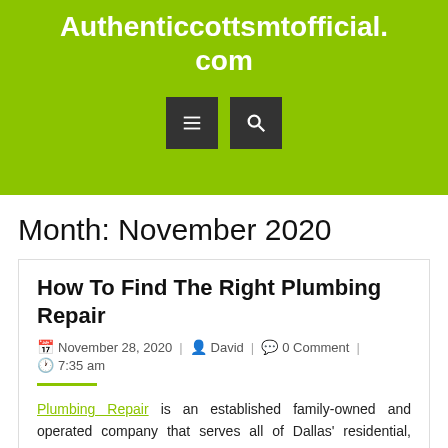Authenticcottsmtofficial.com
Month: November 2020
How To Find The Right Plumbing Repair
November 28, 2020 | David | 0 Comment | 7:35 am
Plumbing Repair is an established family-owned and operated company that serves all of Dallas' residential, commercial, industrial,